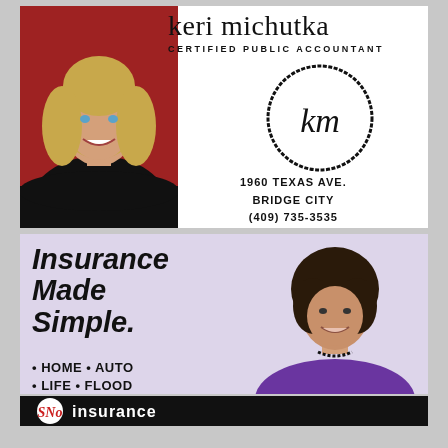keri michutka
CERTIFIED PUBLIC ACCOUNTANT
[Figure (logo): Circular hand-drawn logo with initials km in cursive inside a rough circle]
1960 TEXAS AVE.
BRIDGE CITY
(409) 735-3535
[Figure (photo): Professional photo of Keri Michutka, a smiling woman with blonde hair wearing a black top]
Insurance Made Simple.
• HOME • AUTO
• LIFE • FLOOD
[Figure (photo): Professional photo of an older woman with dark hair wearing a purple blouse and black necklace]
[Figure (logo): SNo Insurance logo — black bar with red script 'SNo' and white text 'insurance']